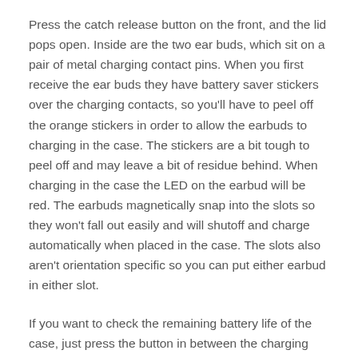Press the catch release button on the front, and the lid pops open. Inside are the two ear buds, which sit on a pair of metal charging contact pins. When you first receive the ear buds they have battery saver stickers over the charging contacts, so you'll have to peel off the orange stickers in order to allow the earbuds to charging in the case. The stickers are a bit tough to peel off and may leave a bit of residue behind. When charging in the case the LED on the earbud will be red. The earbuds magnetically snap into the slots so they won't fall out easily and will shutoff and charge automatically when placed in the case. The slots also aren't orientation specific so you can put either earbud in either slot.
If you want to check the remaining battery life of the case, just press the button in between the charging slots. When you take the earbuds out of the case, they automatically turn on, the flashing blue and red lights indicate they are in pairing mode. By placing them close to one another, they will pair with each other first. Then on your smartphone, select 'Treblab xGo' in